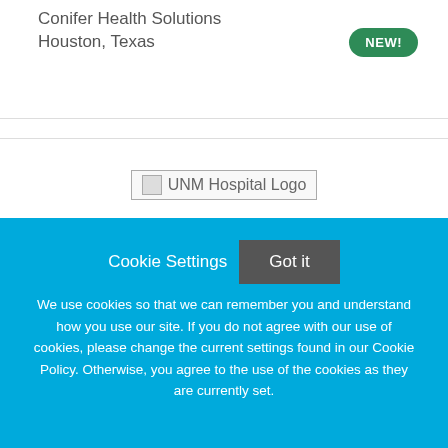Conifer Health Solutions
Houston, Texas
[Figure (logo): UNM Hospital Logo placeholder image]
RN INPT
UNM Hospital
Cookie Settings  Got it
We use cookies so that we can remember you and understand how you use our site. If you do not agree with our use of cookies, please change the current settings found in our Cookie Policy. Otherwise, you agree to the use of the cookies as they are currently set.